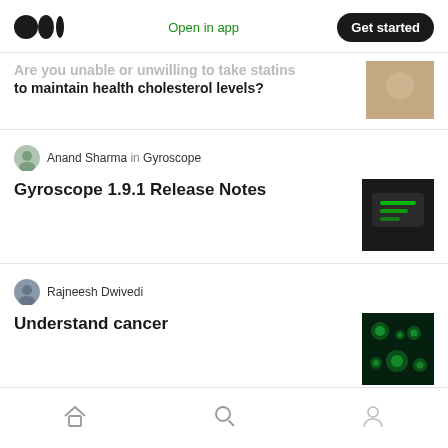Medium logo | Open in app | Get started
Are you unable or unwilling to take statins to maintain health cholesterol levels?
Anand Sharma in Gyroscope
Gyroscope 1.9.1 Release Notes
Rajneesh Dwivedi
Understand cancer
Dina Antonio
To explain a bit about myself I had a little girl that was born two weeks early she is currently 14...
Home | Search | Profile